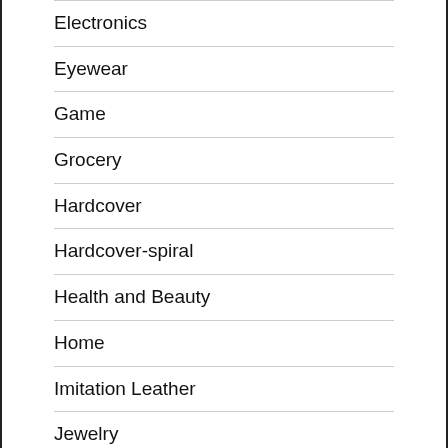Electronics
Eyewear
Game
Grocery
Hardcover
Hardcover-spiral
Health and Beauty
Home
Imitation Leather
Jewelry